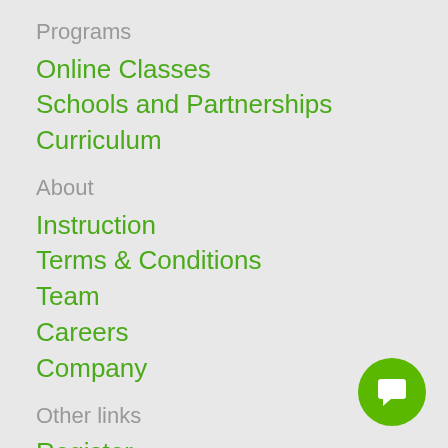Programs
Online Classes
Schools and Partnerships
Curriculum
About
Instruction
Terms & Conditions
Team
Careers
Company
Other links
Register
Gift
Blog
[Figure (illustration): Green circular chat/message button icon in bottom-right corner]